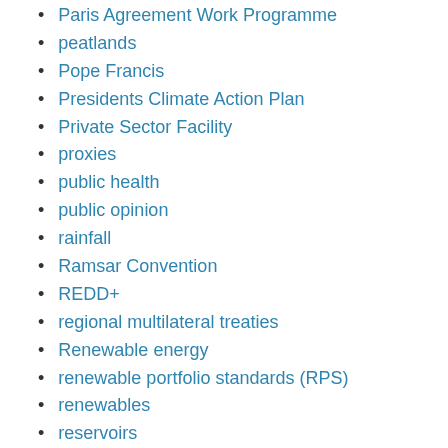Paris Agreement Work Programme
peatlands
Pope Francis
Presidents Climate Action Plan
Private Sector Facility
proxies
public health
public opinion
rainfall
Ramsar Convention
REDD+
regional multilateral treaties
Renewable energy
renewable portfolio standards (RPS)
renewables
reservoirs
resilience
RINGOs
Rio Declaration